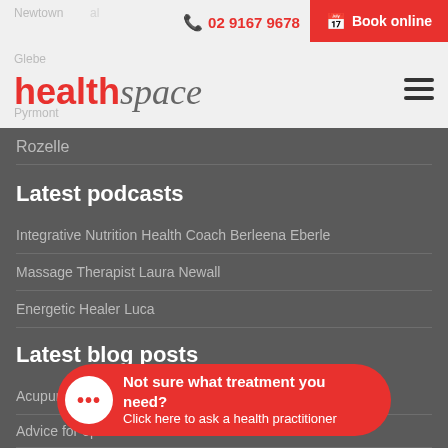02 9167 9678  Book online
[Figure (logo): healthspace logo with red bold 'health' and italic grey 'space']
Newtown
Glebe
Pyrmont
Rozelle
Latest podcasts
Integrative Nutrition Health Coach Berleena Eberle
Massage Therapist Laura Newall
Energetic Healer Luca
Latest blog posts
Acupuncture...
Advice for op...
Not sure what treatment you need? Click here to ask a health practitioner